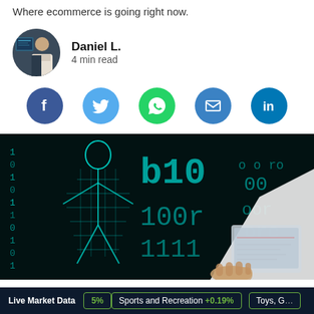Where ecommerce is going right now.
Daniel L.
4 min read
[Figure (illustration): Social sharing icons: Facebook, Twitter, WhatsApp, Email, LinkedIn]
[Figure (photo): Digital ecommerce concept image showing a glowing cyan human figure made of digital data/binary code on a dark background, with a hand holding a tablet in the foreground]
Live Market Data   5%   Sports and Recreation +0.19%   Toys, G...